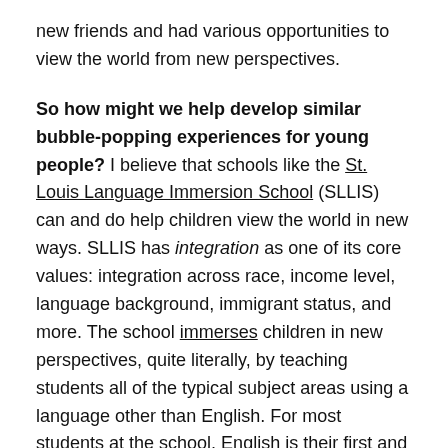new friends and had various opportunities to view the world from new perspectives.
So how might we help develop similar bubble-popping experiences for young people? I believe that schools like the St. Louis Language Immersion School (SLLIS) can and do help children view the world in new ways. SLLIS has integration as one of its core values: integration across race, income level, language background, immigrant status, and more. The school immerses children in new perspectives, quite literally, by teaching students all of the typical subject areas using a language other than English. For most students at the school, English is their first and only language, but the school also attracts many children from multilingual households.